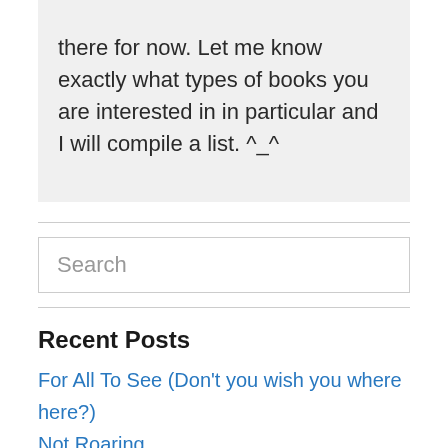there for now. Let me know exactly what types of books you are interested in in particular and I will compile a list. ^_^
Search
Recent Posts
For All To See (Don't you wish you where here?)
Not Roaring
Guest Post by Smallest Niece
A walk on the wild side
Now that I'm an adult, I've learned to fear dragons